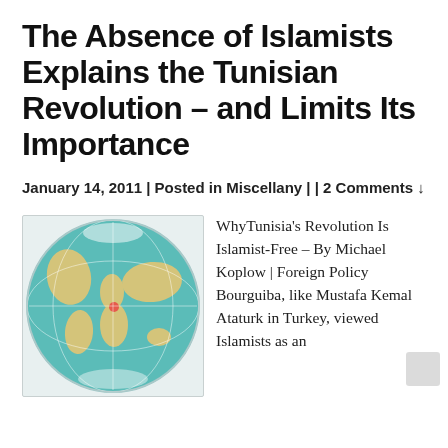The Absence of Islamists Explains the Tunisian Revolution – and Limits Its Importance
January 14, 2011 | Posted in Miscellany | | 2 Comments ↓
[Figure (map): Globe map showing world continents on a teal/aqua background, with landmasses in beige/tan colors]
WhyTunisia's Revolution Is Islamist-Free – By Michael Koplow | Foreign Policy Bourguiba, like Mustafa Kemal Ataturk in Turkey, viewed Islamists as an